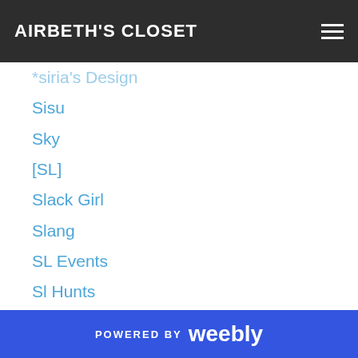AIRBETH'S CLOSET
*siria's Design
Sisu
Sky
[SL]
Slack Girl
Slang
SL Events
Sl Hunts
Slink
Slink.
SL Places
[SM]
Sn@tch
Soedara
Soice4eva
POWERED BY weebly